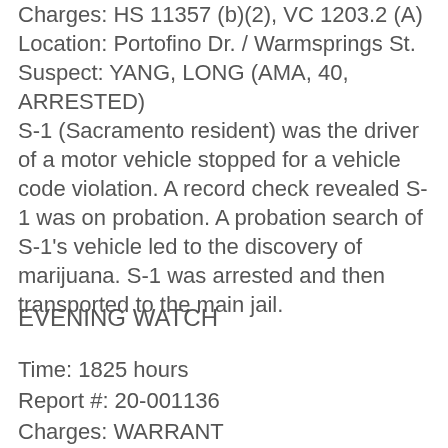Charges: HS 11357 (b)(2), VC 1203.2 (A)
Location: Portofino Dr. / Warmsprings St.
Suspect: YANG, LONG (AMA, 40, ARRESTED)
S-1 (Sacramento resident) was the driver of a motor vehicle stopped for a vehicle code violation. A record check revealed S-1 was on probation. A probation search of S-1's vehicle led to the discovery of marijuana. S-1 was arrested and then transported to the main jail.
EVENING WATCH
Time: 1825 hours
Report #: 20-001136
Charges: WARRANT
Location: 10200 block of E. Taron